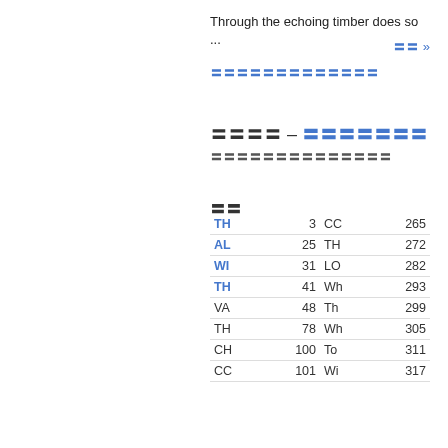Through the echoing timber does so ...
〓〓 »
〓〓〓〓〓〓〓〓〓〓〓〓〓
〓〓〓〓 – 〓〓〓〓〓〓〓
〓〓〓〓〓〓〓〓〓〓〓〓〓〓
〓〓
|  |  |  |  |
| --- | --- | --- | --- |
| TH | 3 | CC | 265 |
| AL | 25 | TH | 272 |
| WI | 31 | LO | 282 |
| TH | 41 | Wh | 293 |
| VA | 48 | Th | 299 |
| TH | 78 | Wh | 305 |
| CH | 100 | To | 311 |
| CC | 101 | Wi | 317 |